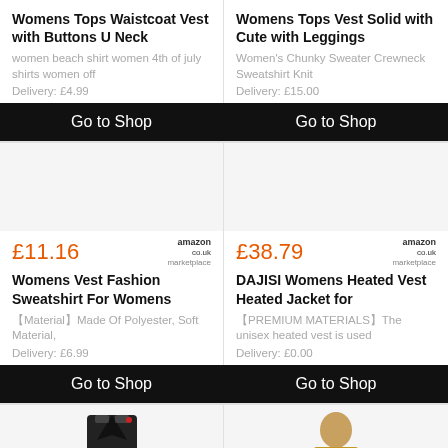Womens Tops Waistcoat Vest with Buttons U Neck
women beach shirt women 4th of july shirts women off
Delivery: £4.99
Go to Shop
[Figure (photo): Product image area placeholder for second card top - light gray background]
Womens Tops Vest Solid with Cute with Leggings
Women's Chunky Sweater Crewneck Sweatshirt Knit
Delivery: £15.00
Go to Shop
£11.16
amazon.co.uk marketplace
Womens Vest Fashion Sweatshirt For Womens
【Material】Made Of Polyester, Soft Material,
Delivery: £6.99
Go to Shop
£38.79
amazon.co.uk marketplace
DAJISI Womens Heated Vest Heated Jacket for
【PREMIUM MATERIALS】The unisex heated vest is used
Delivery: £0.00
Go to Shop
[Figure (photo): Black vest/top garment on white background, bottom portion visible]
[Figure (photo): Person wearing gold/yellow vest, bottom portion visible]